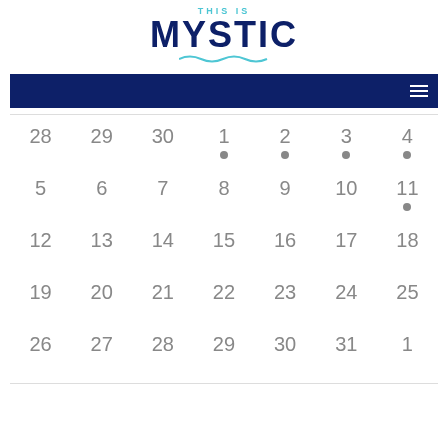[Figure (logo): This Is Mystic logo with wave underline]
Navigation bar with hamburger menu icon
| 28 | 29 | 30 | 1 | 2 | 3 | 4 |
| 5 | 6 | 7 | 8 | 9 | 10 | 11 |
| 12 | 13 | 14 | 15 | 16 | 17 | 18 |
| 19 | 20 | 21 | 22 | 23 | 24 | 25 |
| 26 | 27 | 28 | 29 | 30 | 31 | 1 |